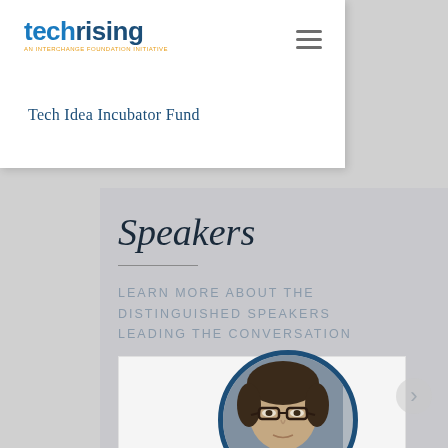[Figure (logo): techrising logo with 'AN INTERCHANGE FOUNDATION INITIATIVE' tagline in orange]
Tech Idea Incubator Fund
Speakers
LEARN MORE ABOUT THE DISTINGUISHED SPEAKERS LEADING THE CONVERSATION
[Figure (photo): Circular portrait photo of a man with glasses and dark curly hair, framed with a dark blue circular border]